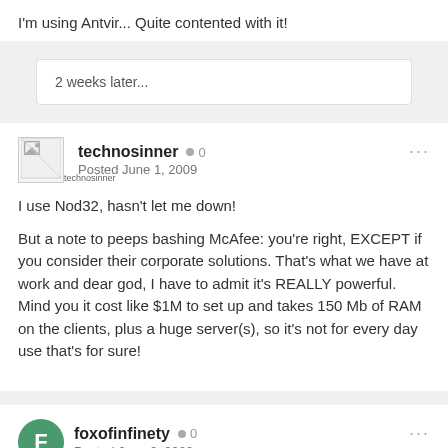I'm using Antvir... Quite contented with it!
2 weeks later...
technosinner  ● 0
Posted June 1, 2009
I use Nod32, hasn't let me down!

But a note to peeps bashing McAfee: you're right, EXCEPT if you consider their corporate solutions. That's what we have at work and dear god, I have to admit it's REALLY powerful. Mind you it cost like $1M to set up and takes 150 Mb of RAM on the clients, plus a huge server(s), so it's not for every day use that's for sure!
foxofinfinety  ● 0
Posted June 2, 2009